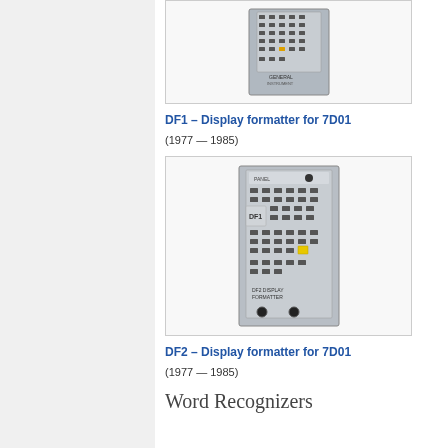[Figure (photo): Photo of DF1 Display formatter device for 7D01, showing front panel with buttons and controls]
DF1 – Display formatter for 7D01
(1977 — 1985)
[Figure (photo): Photo of DF2 Display formatter device for 7D01, showing front panel with numerous buttons arranged in a grid]
DF2 – Display formatter for 7D01
(1977 — 1985)
Word Recognizers